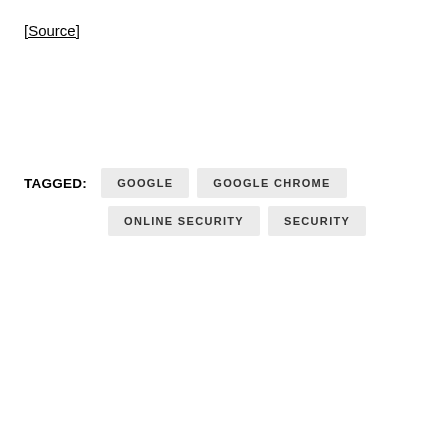[Source]
TAGGED: GOOGLE GOOGLE CHROME ONLINE SECURITY SECURITY